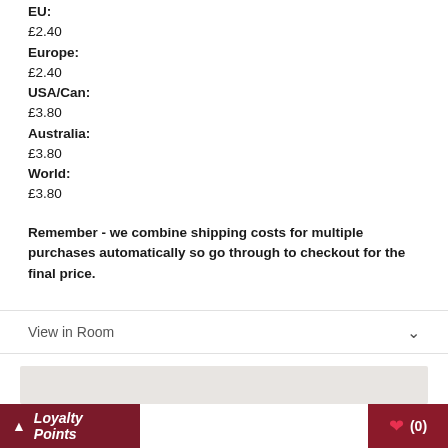EU:
£2.40
Europe:
£2.40
USA/Can:
£3.80
Australia:
£3.80
World:
£3.80
Remember - we combine shipping costs for multiple purchases automatically so go through to checkout for the final price.
View in Room
[Figure (photo): Room view image placeholder, light gray/beige background]
Loyalty Points
(0)